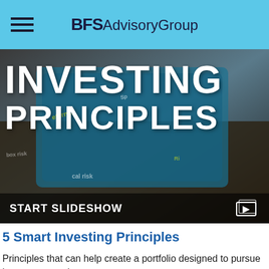BFS Advisory Group
[Figure (screenshot): Hero image showing hands holding a phone/tablet with text overlay reading INVESTING PRINCIPLES in large white bold letters, with a dark overlay at the bottom showing START SLIDESHOW and a slideshow icon]
5 Smart Investing Principles
Principles that can help create a portfolio designed to pursue investment goals.
Contact
Office: (214) 764-1964